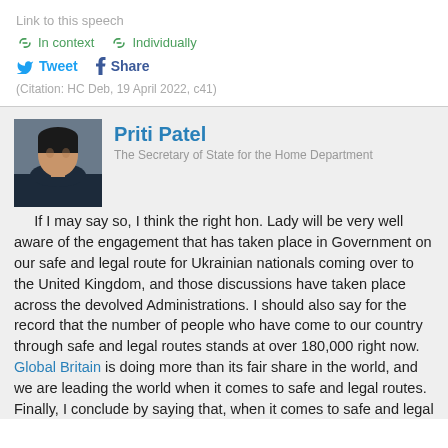Link to this speech
In context   Individually
Tweet   Share
(Citation: HC Deb, 19 April 2022, c41)
Priti Patel
The Secretary of State for the Home Department
If I may say so, I think the right hon. Lady will be very well aware of the engagement that has taken place in Government on our safe and legal route for Ukrainian nationals coming over to the United Kingdom, and those discussions have taken place across the devolved Administrations. I should also say for the record that the number of people who have come to our country through safe and legal routes stands at over 180,000 right now. Global Britain is doing more than its fair share in the world, and we are leading the world when it comes to safe and legal routes. Finally, I conclude by saying that, when it comes to safe and legal routes, it is those from the right hon. Lady's party and every party on the Opposition Benches who have voted against the Nationality and Borders Bill, which actually puts safe and legal routes